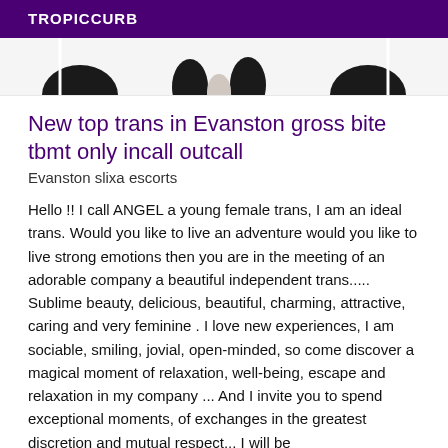TROPICCURB
[Figure (photo): Partial view of a person, showing bottom of face/chin area with dark hair, cropped at top of page]
New top trans in Evanston gross bite tbmt only incall outcall
Evanston slixa escorts
Hello !! I call ANGEL a young female trans, I am an ideal trans. Would you like to live an adventure would you like to live strong emotions then you are in the meeting of an adorable company a beautiful independent trans..... Sublime beauty, delicious, beautiful, charming, attractive, caring and very feminine . I love new experiences, I am sociable, smiling, jovial, open-minded, so come discover a magical moment of relaxation, well-being, escape and relaxation in my company ... And I invite you to spend exceptional moments, of exchanges in the greatest discretion and mutual respect... I will be